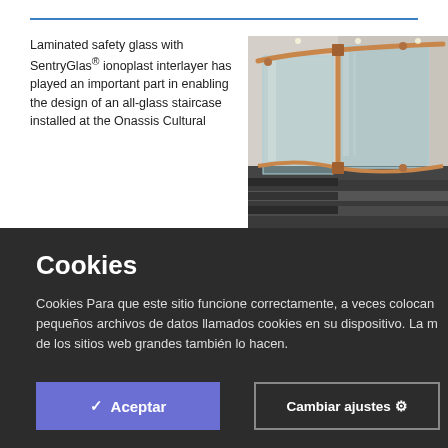Laminated safety glass with SentryGlas® ionoplast interlayer has played an important part in enabling the design of an all-glass staircase installed at the Onassis Cultural
[Figure (photo): Glass staircase with copper/gold handrail, showing laminated glass balustrade panels at the Onassis Cultural Centre. Modern interior with grey concrete walls and dark stairs.]
Cookies
Cookies Para que este sitio funcione correctamente, a veces colocamos pequeños archivos de datos llamados cookies en su dispositivo. La m de los sitios web grandes también lo hacen.
✓  Aceptar
Cambiar ajustes ⚙
Lee ma